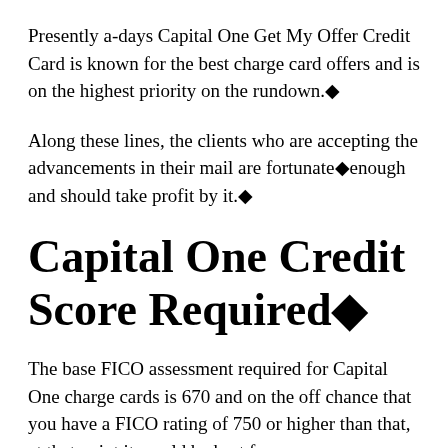Presently a-days Capital One Get My Offer Credit Card is known for the best charge card offers and is on the highest priority on the rundown.◆
Along these lines, the clients who are accepting the advancements in their mail are fortunate◆enough and should take profit by it.◆
Capital One Credit Score Required◆
The base FICO assessment required for Capital One charge cards is 670 and on the off chance that you have a FICO rating of 750 or higher than that, at that point it would be best for you